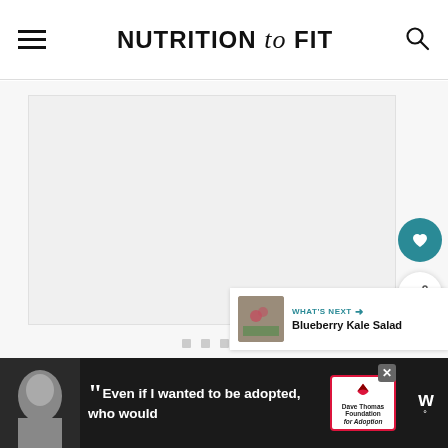NUTRITION to FIT
[Figure (screenshot): Loading/placeholder content area with light gray background and three small gray squares as loading indicators]
[Figure (other): Floating heart favorite button (teal circle with white heart icon)]
[Figure (other): Floating share button (white circle with share icon)]
[Figure (other): What's Next card showing Blueberry Kale Salad with thumbnail]
[Figure (other): Advertisement banner: Dave Thomas Foundation for Adoption quote 'Even if I wanted to be adopted, who would']